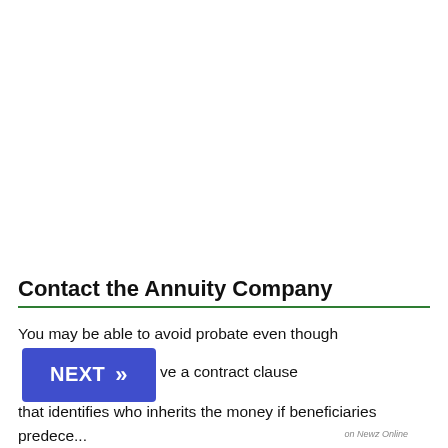Contact the Annuity Company
You may be able to avoid probate even though there are no listed or living beneficiaries. Many annuity companies have a contract clause that identifies who inherits the money if beneficiaries predecease the annuity owner.